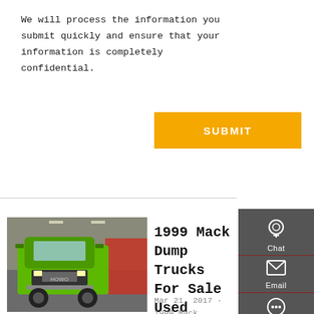We will process the information you submit quickly and ensure that your information is completely confidential.
[Figure (other): Orange submit button]
[Figure (photo): Green Mack dump truck parked indoors, front view]
1999 Mack Dump Trucks For Sale Used Trucks on Buysellsearch
Mar 21, 2017 · 1999 Mack CH613 Gold Dog, Tri-Axle